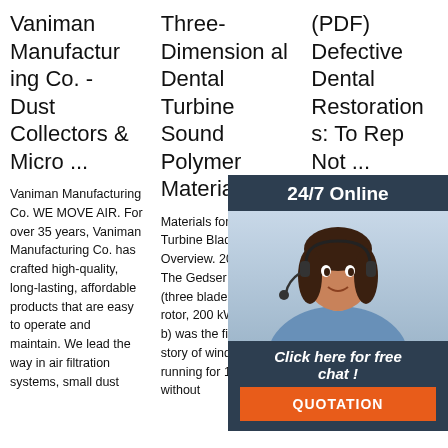Vaniman Manufacturing Co. - Dust Collectors & Micro ...
Three-Dimensional Dental Turbine Sound Polymer Materials
(PDF) Defective Dental Restorations: To Rep Not ...
Vaniman Manufacturing Co. WE MOVE AIR. For over 35 years, Vaniman Manufacturing Co. has crafted high-quality, long-lasting, affordable products that are easy to operate and maintain. We lead the way in air filtration systems, small dust
Materials for Wind Turbine Blades: An Overview. 2017-11-9 · The Gedser turbine (three blades, 24 m rotor, 200 kW, Figure 1 b) was the first success story of wind energy, running for 11 years without
the intr repair o cerami couplin (silane been . oral sa the exposed metal has a . matt appearance. easy, affordable, and minimally ...
[Figure (illustration): Customer service agent overlay panel with 24/7 Online header, photo of woman with headset, 'Click here for free chat!' text, and orange QUOTATION button]
[Figure (logo): TOP logo with orange dotted triangle design and red TOP text]